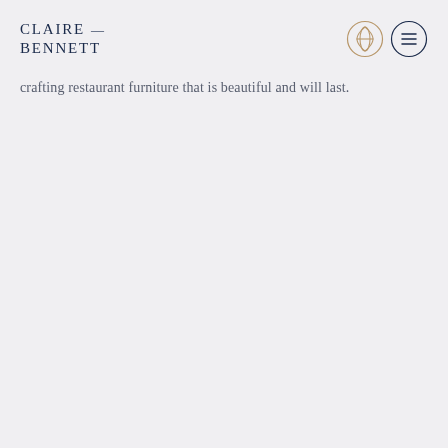CLAIRE — BENNETT
crafting restaurant furniture that is beautiful and will last.